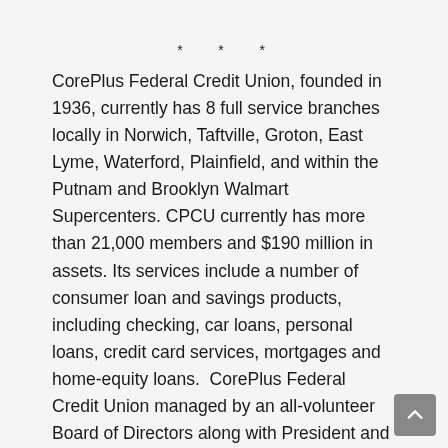* * *
CorePlus Federal Credit Union, founded in 1936, currently has 8 full service branches locally in Norwich, Taftville, Groton, East Lyme, Waterford, Plainfield, and within the Putnam and Brooklyn Walmart Supercenters. CPCU currently has more than 21,000 members and $190 million in assets. Its services include a number of consumer loan and savings products, including checking, car loans, personal loans, credit card services, mortgages and home-equity loans.  CorePlus Federal Credit Union managed by an all-volunteer Board of Directors along with President and CEO, Nicholas K. Fortson. For more information call 860-886-0576 or visit our website at